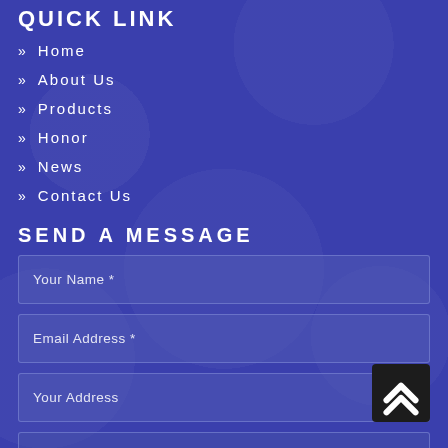QUICK LINK
» Home
» About Us
» Products
» Honor
» News
» Contact Us
SEND A MESSAGE
Your Name *
Email Address *
Your Address